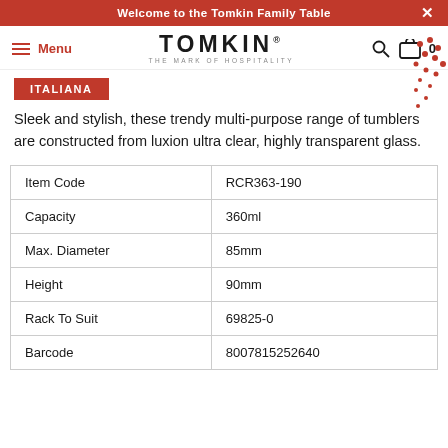Welcome to the Tomkin Family Table
TOMKIN THE MARK OF HOSPITALITY
ITALIANA
Sleek and stylish, these trendy multi-purpose range of tumblers are constructed from luxion ultra clear, highly transparent glass.
|  |  |
| --- | --- |
| Item Code | RCR363-190 |
| Capacity | 360ml |
| Max. Diameter | 85mm |
| Height | 90mm |
| Rack To Suit | 69825-0 |
| Barcode | 8007815252640 |